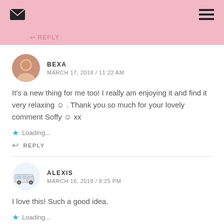REPLY
BEXA
MARCH 17, 2018 / 11:22 AM
It’s a new thing for me too! I really am enjoying it and find it very relaxing ☺ . Thank you so much for your lovely comment Soffy ☻ xx
Loading...
REPLY
ALEXIS
MARCH 16, 2018 / 8:25 PM
I love this! Such a good idea.
Loading...